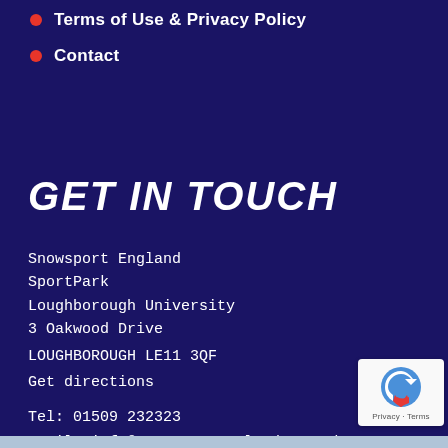Terms of Use & Privacy Policy
Contact
GET IN TOUCH
Snowsport England
SportPark
Loughborough University
3 Oakwood Drive
LOUGHBOROUGH LE11 3QF
Get directions
Tel: 01509 232323
Email: info@snowsportengland.org.uk
[Figure (logo): reCAPTCHA badge with Privacy and Terms text]